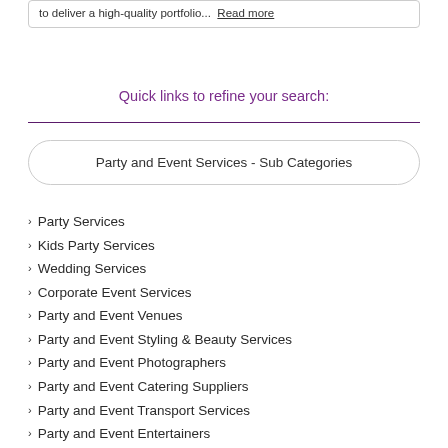to deliver a high-quality portfolio... Read more
Quick links to refine your search:
Party and Event Services - Sub Categories
Party Services
Kids Party Services
Wedding Services
Corporate Event Services
Party and Event Venues
Party and Event Styling & Beauty Services
Party and Event Photographers
Party and Event Catering Suppliers
Party and Event Transport Services
Party and Event Entertainers